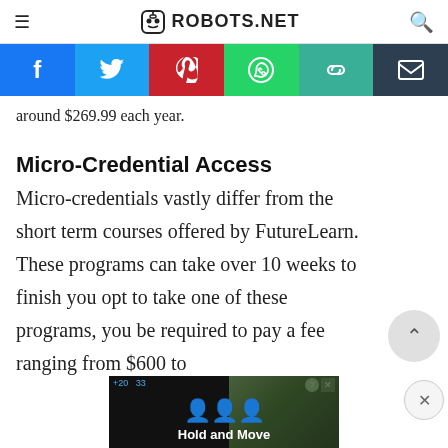ROBOTS.NET
[Figure (infographic): Social sharing bar with icons: Facebook (blue), Twitter (light blue), Pinterest (red), WhatsApp (green), copy link (teal), email (dark navy)]
around $269.99 each year.
Micro-Credential Access
Micro-credentials vastly differ from the short term courses offered by FutureLearn. These programs can take over 10 weeks to finish you opt to take one of these programs, you be required to pay a fee ranging from $600 to